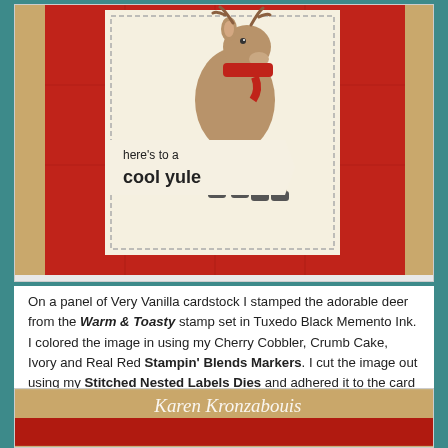[Figure (photo): A handmade Christmas card with red plaid textured cardstock background and a cream/vanilla colored die-cut panel featuring an illustrated deer wearing a red scarf. The panel has a stitched border. A cream banner reads 'here's to a cool yule' in bold text. The card has tan/kraft colored mat borders.]
On a panel of Very Vanilla cardstock I stamped the adorable deer from the Warm & Toasty stamp set in Tuxedo Black Memento Ink. I colored the image in using my Cherry Cobbler, Crumb Cake, Ivory and Real Red Stampin' Blends Markers. I cut the image out using my Stitched Nested Labels Dies and adhered it to the card front using Stampin' Dimensionals.
[Figure (photo): Bottom portion of a photo showing a signature or name tag reading 'Karen Kronzabouis' in white italic script on a tan/kraft colored background strip.]